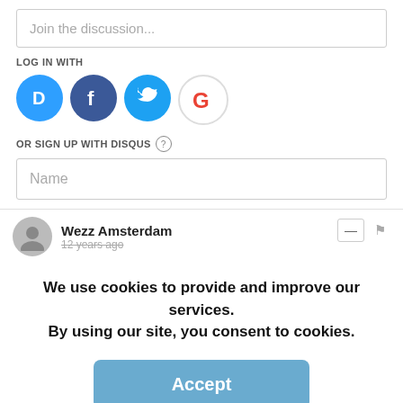Join the discussion...
LOG IN WITH
[Figure (infographic): Social login icons: Disqus (blue circle with D), Facebook (dark blue circle with f), Twitter (light blue circle with bird), Google (white circle with G)]
OR SIGN UP WITH DISQUS ?
Name
Wezz Amsterdam
12 years ago
We use cookies to provide and improve our services. By using our site, you consent to cookies.
Accept
Learn more